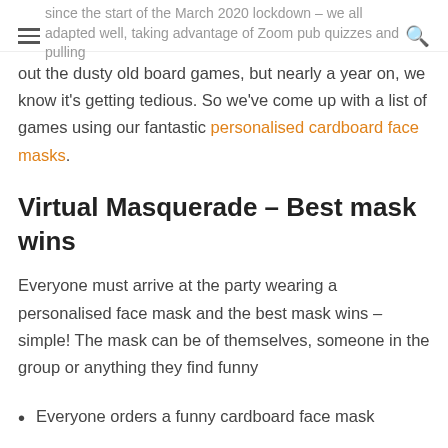since the start of the March 2020 lockdown – we all adapted well, taking advantage of Zoom pub quizzes and pulling
out the dusty old board games, but nearly a year on, we know it's getting tedious. So we've come up with a list of games using our fantastic personalised cardboard face masks.
Virtual Masquerade – Best mask wins
Everyone must arrive at the party wearing a personalised face mask and the best mask wins – simple! The mask can be of themselves, someone in the group or anything they find funny
Everyone orders a funny cardboard face mask
Ask everyone to wear them when they join